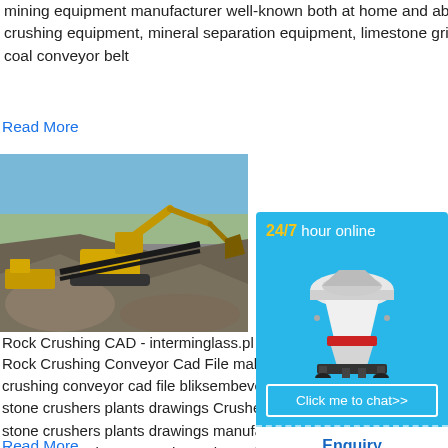mining equipment manufacturer well-known both at home and abroad, major in producing stone crushing equipment, mineral separation equipment, limestone grinding equipment, etc. – Crusher. coal conveyor belt
Read More
[Figure (photo): Yellow excavator/mining machinery on rocky ground at a mining site]
Rock Crushing CAD - interminglass.pl
Rock Crushing Conveyor Cad File mahama... k crushing conveyor cad file bliksembeveiligi... stone crushers plants drawings Crusher Ma... stone crushers plants drawings manufactur... China autocad stone crushers plants drawi... ed from Shanghai Xuanshi It is the main miner... solutionscad inventor block
Read More
[Figure (infographic): Sidebar widget with blue background showing a cone crusher machine, 24/7 hour online text, Click me to chat>> button, Enquiry section, and limingjlmofen text]